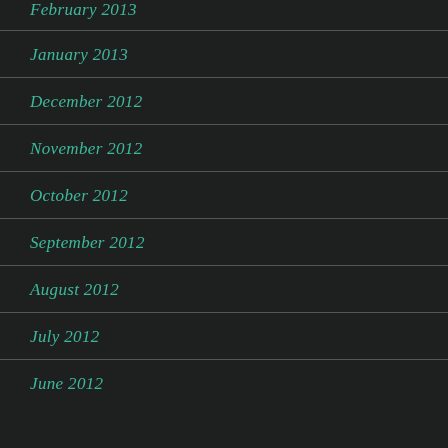February 2013
January 2013
December 2012
November 2012
October 2012
September 2012
August 2012
July 2012
June 2012